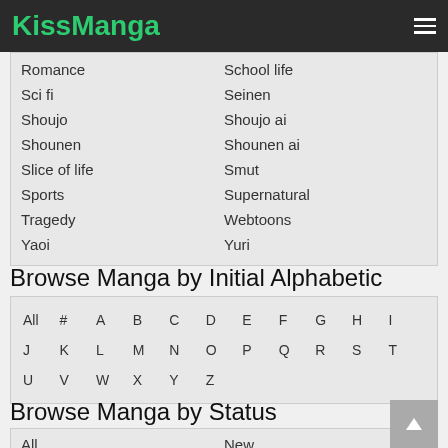KissManga
Romance | School life
Sci fi | Seinen
Shoujo | Shoujo ai
Shounen | Shounen ai
Slice of life | Smut
Sports | Supernatural
Tragedy | Webtoons
Yaoi | Yuri
Browse Manga by Initial Alphabetic
| All | # | A | B | C | D | E | F | G | H | I | J |
| K | L | M | N | O | P | Q | R | S | T | U | V |
| W | X | Y | Z |  |  |  |  |  |  |  |  |
Browse Manga by Status
All | New